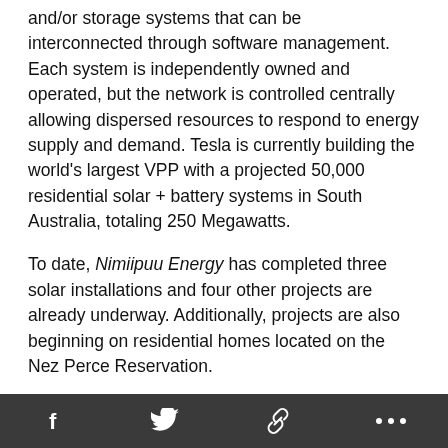and/or storage systems that can be interconnected through software management. Each system is independently owned and operated, but the network is controlled centrally allowing dispersed resources to respond to energy supply and demand. Tesla is currently building the world's largest VPP with a projected 50,000 residential solar + battery systems in South Australia, totaling 250 Megawatts.
To date, Nimiipuu Energy has completed three solar installations and four other projects are already underway. Additionally, projects are also beginning on residential homes located on the Nez Perce Reservation.
“Our goal is to produce 500+ Megawatts and become completely self-reliant for energy. The ultimate objective now is to provide this opportunity to other tribes by offering assistance to develop and implement their own systems that can interconnect with the VPP, creating the largest network of
social share icons: Facebook, Twitter, Link, More